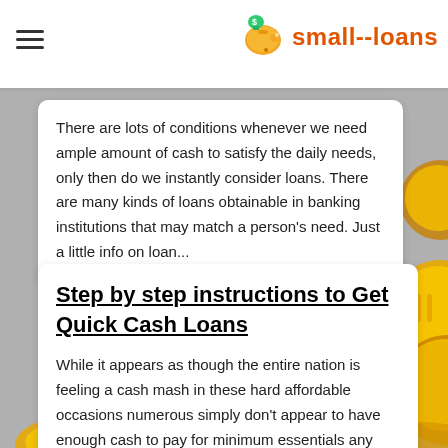small--loans
There are lots of conditions whenever we need ample amount of cash to satisfy the daily needs, only then do we instantly consider loans. There are many kinds of loans obtainable in banking institutions that may match a person's need. Just a little info on loan...
Step by step instructions to Get Quick Cash Loans
While it appears as though the entire nation is feeling a cash mash in these hard affordable occasions numerous simply don't appear to have enough cash to pay for minimum essentials any longer, and most have just pawned all that they can at the neighborhood pa...